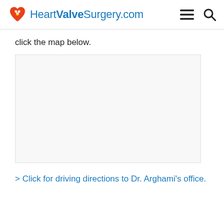HeartValveSurgery.com
click the map below.
[Figure (map): Empty map area placeholder for a location map]
> Click for driving directions to Dr. Arghami's office.